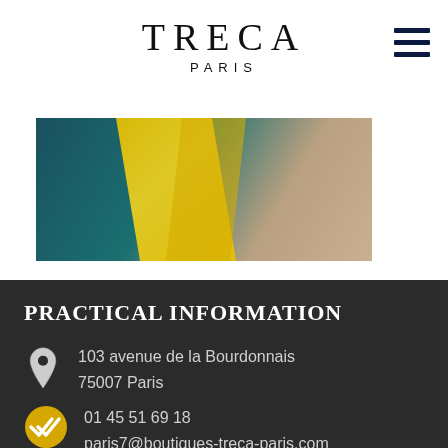TRECA PARIS
[Figure (photo): Close-up photo of dark teal fabric with bright yellow fabric pieces on top, wooden floor visible in the background.]
PRACTICAL INFORMATION
103 avenue de la Bourdonnais
75007 Paris
01 45 51 69 18
paris7@boutiques-treca-paris.com